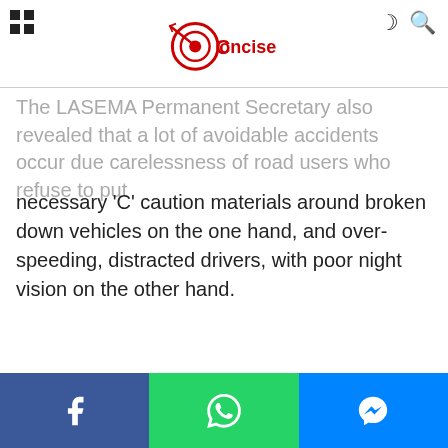[Figure (logo): Concise news website logo — red circular target/arrow icon with 'Concise' text in red]
The LASEMA Permanent Secretary also revealed that a lot of avoidable accidents occur due carelessness of road users who refuse to put necessary 'C' caution materials around broken down vehicles on the one hand, and over-speeding, distracted drivers, with poor night vision on the other hand.